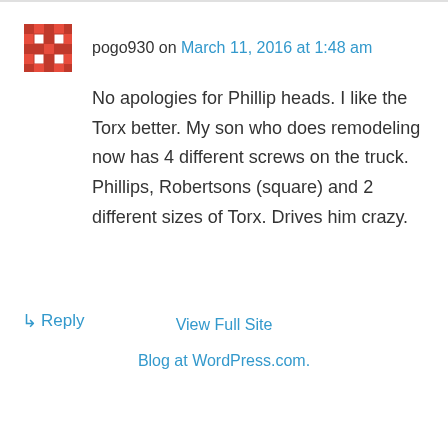pogo930 on March 11, 2016 at 1:48 am
No apologies for Phillip heads. I like the Torx better. My son who does remodeling now has 4 different screws on the truck. Phillips, Robertsons (square) and 2 different sizes of Torx. Drives him crazy.
↳ Reply
View Full Site
Blog at WordPress.com.